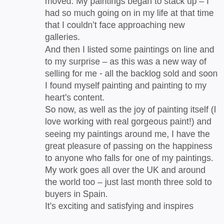moved. My paintings began to stack up – I had so much going on in my life at that time that I couldn't face approaching new galleries. And then I listed some paintings on line and to my surprise – as this was a new way of selling for me - all the backlog sold and soon I found myself painting and painting to my heart's content. So now, as well as the joy of painting itself (I love working with real gorgeous paint!) and seeing my paintings around me, I have the great pleasure of passing on the happiness to anyone who falls for one of my paintings. My work goes all over the UK and around the world too – just last month three sold to buyers in Spain. It's exciting and satisfying and inspires...